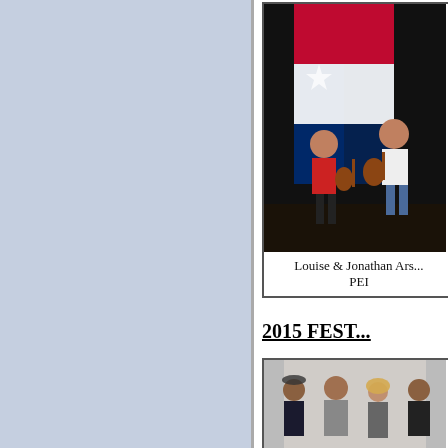[Figure (photo): Two musicians on stage, a woman in red playing a small guitar/ukulele and a man playing acoustic guitar, with a large Texas flag in the background]
Louise & Jonathan Ars...
PEI
2015 FEST...
[Figure (photo): Group of four people in formal attire standing together for a photo]